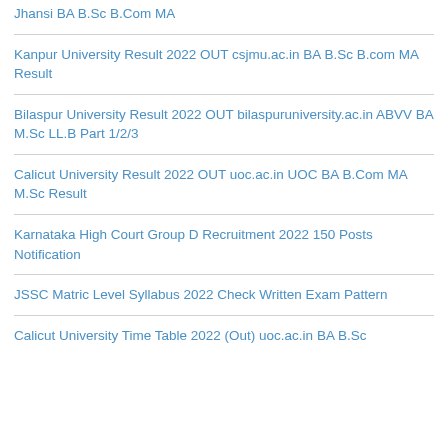Jhansi BA B.Sc B.Com MA
Kanpur University Result 2022 OUT csjmu.ac.in BA B.Sc B.com MA Result
Bilaspur University Result 2022 OUT bilaspuruniversity.ac.in ABVV BA M.Sc LL.B Part 1/2/3
Calicut University Result 2022 OUT uoc.ac.in UOC BA B.Com MA M.Sc Result
Karnataka High Court Group D Recruitment 2022 150 Posts Notification
JSSC Matric Level Syllabus 2022 Check Written Exam Pattern
Calicut University Time Table 2022 (Out) uoc.ac.in BA B.Sc